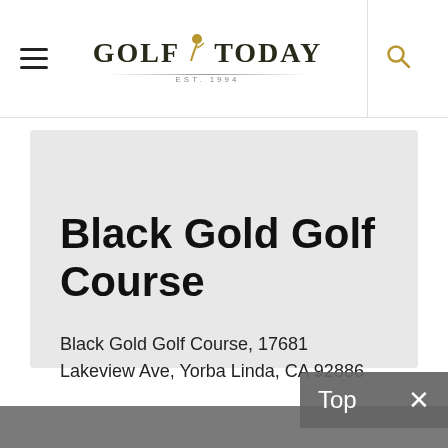Golf Today
Black Gold Golf Course
Black Gold Golf Course, 17681 Lakeview Ave, Yorba Linda, CA 92886